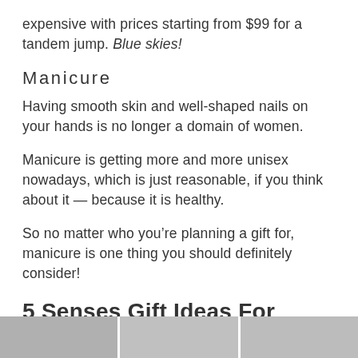expensive with prices starting from $99 for a tandem jump. Blue skies!
Manicure
Having smooth skin and well-shaped nails on your hands is no longer a domain of women.
Manicure is getting more and more unisex nowadays, which is just reasonable, if you think about it — because it is healthy.
So no matter who you're planning a gift for, manicure is one thing you should definitely consider!
5 Senses Gift Ideas For Sound
[Figure (photo): Strip of three grayscale photo thumbnails at the bottom of the page]